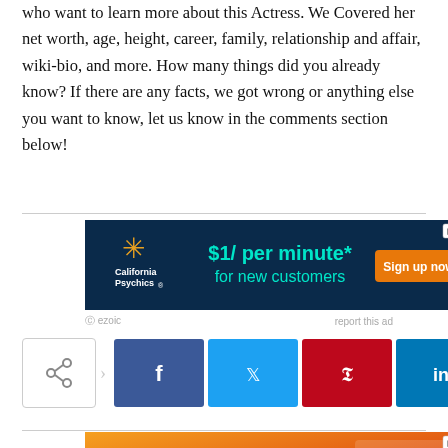who want to learn more about this Actress. We Covered her net worth, age, height, career, family, relationship and affair, wiki-bio, and more. How many things did you already know? If there are any facts, we got wrong or anything else you want to know, let us know in the comments section below!
[Figure (screenshot): California Psychics advertisement: $1/ per minute* for new customers. Sign up now button.]
ezoic   report this ad
[Figure (infographic): Social share buttons: Facebook, Twitter, Pinterest, LinkedIn, Reddit]
[Figure (screenshot): Recipe Book EasyPeazy advertisement featuring The Little Potato Company Blushing Belle. Meal Planning Made Easy!]